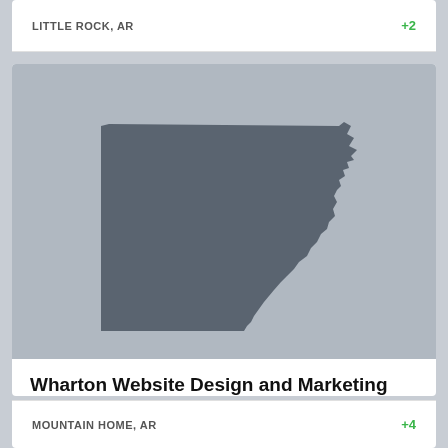LITTLE ROCK, AR
+2
[Figure (map): Silhouette of the state of Arkansas displayed on a gray background image placeholder]
Wharton Website Design and Marketing
Wharton Website Design & Marketing is a Value Added Reseller for both HubSpot and Volusion. We also provide website design, content management systems, hos...
MOUNTAIN HOME, AR
+4